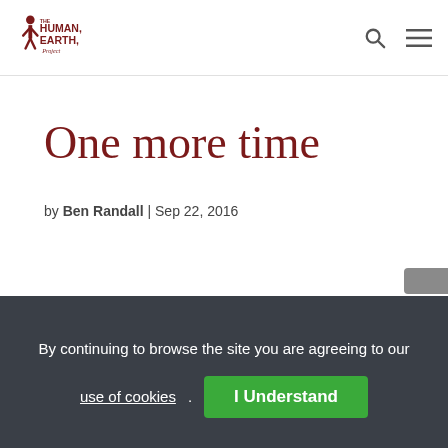The Human Earth Project
One more time
by Ben Randall | Sep 22, 2016
By continuing to browse the site you are agreeing to our use of cookies. I Understand
Share This
Our current campaign to complete